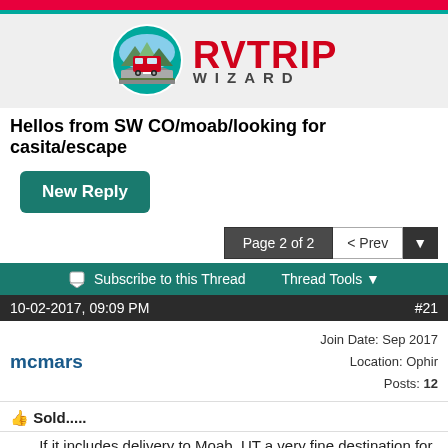[Figure (logo): RV Trip Wizard advertisement banner with logo: circular icon showing red RV on road with mountains, and red bold text RVTRIP with gray subtitle WIZARD]
Hellos from SW CO/moab/looking for casita/escape
New Reply
Page 2 of 2  < Prev
Subscribe to this Thread   Thread Tools
10-02-2017, 09:09 PM   #21
mcmars   Join Date: Sep 2017 Location: Ophir Posts: 12
👍 Sold.....
.......If it includes delivery to Moab, UT a very fine destination for your driver and I can provide free housing in the trailer when they arrive!!